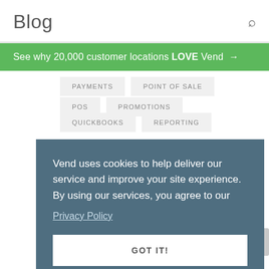Blog
See why 20,000 customer locations LOVE Vend →
PAYMENTS
POINT OF SALE
POS
PROMOTIONS
QUICKBOOKS
REPORTING
Vend uses cookies to help deliver our service and improve your site experience. By using our services, you agree to our Privacy Policy
GOT IT!
WHAT'S NEW IN VEND
XERO